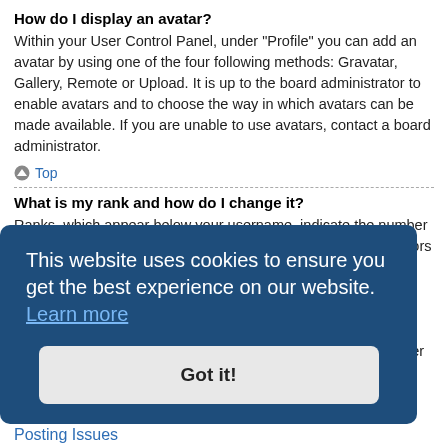How do I display an avatar?
Within your User Control Panel, under "Profile" you can add an avatar by using one of the four following methods: Gravatar, Gallery, Remote or Upload. It is up to the board administrator to enable avatars and to choose the way in which avatars can be made available. If you are unable to use avatars, contact a board administrator.
Top
What is my rank and how do I change it?
Ranks, which appear below your username, indicate the number of posts you have made or identify certain users, e.g. moderators and administrators. In general, you cannot directly change the wording of any board ranks as they are set by the board administrator. Please do not abuse the board by posting unnecessarily just to increase your rank. Most boards will not tolerate this and the moderator or administrator will simply lower your post count.
This website uses cookies to ensure you get the best experience on our website.  Learn more
Got it!
il form, malicious
Posting Issues